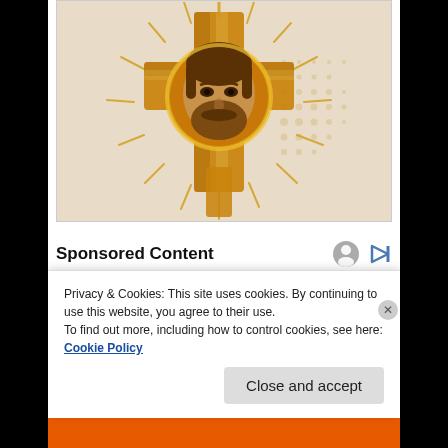[Figure (illustration): Golden cross with the face of Jesus Christ, radiant rays emanating outward, religious icon illustration on a beige/cream background]
Sponsored Content
Privacy & Cookies: This site uses cookies. By continuing to use this website, you agree to their use.
To find out more, including how to control cookies, see here: Cookie Policy
Close and accept